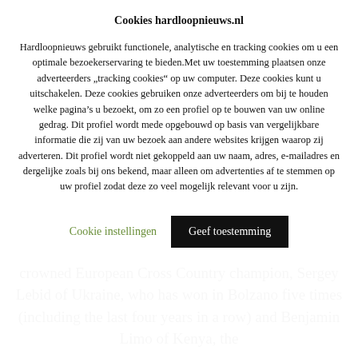Cookies hardloopnieuws.nl
Hardloopnieuws gebruikt functionele, analytische en tracking cookies om u een optimale bezoekerservaring te bieden.Met uw toestemming plaatsen onze adverteerders „tracking cookies“ op uw computer. Deze cookies kunt u uitschakelen. Deze cookies gebruiken onze adverteerders om bij te houden welke pagina’s u bezoekt, om zo een profiel op te bouwen van uw online gedrag. Dit profiel wordt mede opgebouwd op basis van vergelijkbare informatie die zij van uw bezoek aan andere websites krijgen waarop zij adverteren. Dit profiel wordt niet gekoppeld aan uw naam, adres, e-mailadres en dergelijke zoals bij ons bekend, maar alleen om advertenties af te stemmen op uw profiel zodat deze zo veel mogelijk relevant voor u zijn.
Cookie instellingen
Geef toestemming
crowned European Cross Country champion, Sergey Lebid of Ukraine, who has won in Bolzano five times (including the last four years in a row) and Benjamin Limo of Kenya, the